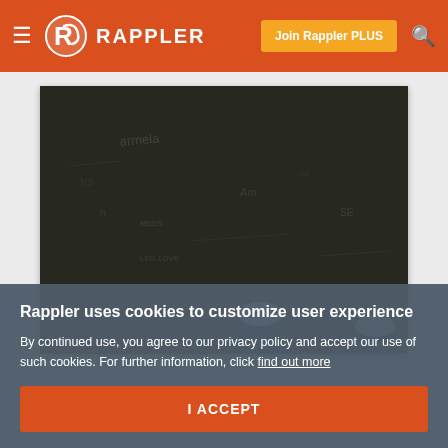RAPPLER — Join Rappler PLUS
[Figure (photo): Dark photograph showing a graffiti-covered wall with two people wearing white caps visible at the bottom]
Rappler uses cookies to customize user experience
By continued use, you agree to our privacy policy and accept our use of such cookies. For further information, click find out more
I ACCEPT